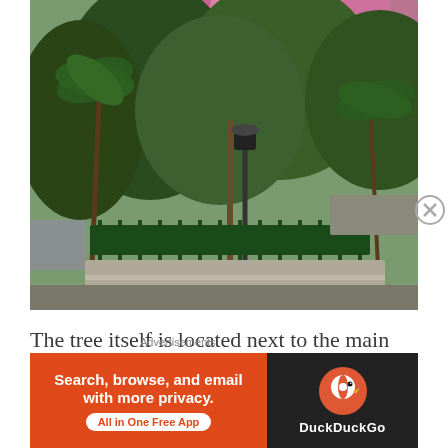[Figure (photo): Outdoor garden scene with lush green tropical trees and palms, pink flowering tree at top, lamp post in center, green iron fence and stone seating area in foreground.]
The tree itself is located next to the main fountain and lawn as you go up the stairs from the entrance off Upper Albert Road. I actually thought it was a displaced cherry tree that just
Advertisements
[Figure (screenshot): DuckDuckGo advertisement banner: orange left panel reads 'Search, browse, and email with more privacy. All in One Free App' with white button; dark right panel shows DuckDuckGo logo and name.]